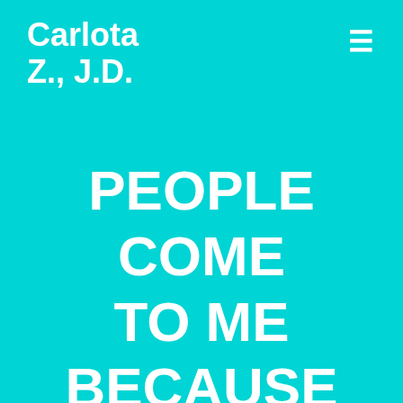Carlota Z., J.D.
PEOPLE COME TO ME BECAUSE THEY ARE READY TO